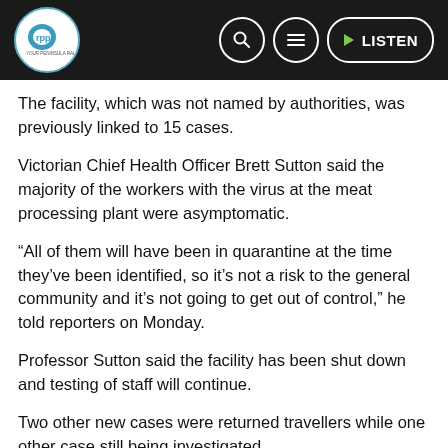RPP FM Your Peninsula Radio — navigation bar with search, menu, and LISTEN buttons
The facility, which was not named by authorities, was previously linked to 15 cases.
Victorian Chief Health Officer Brett Sutton said the majority of the workers with the virus at the meat processing plant were asymptomatic.
“All of them will have been in quarantine at the time they’ve been identified, so it’s not a risk to the general community and it’s not going to get out of control,” he told reporters on Monday.
Professor Sutton said the facility has been shut down and testing of staff will continue.
Two other new cases were returned travellers while one other case still being investigated.
Premier Daniel Andrews said 55,000 Victorians have been tested